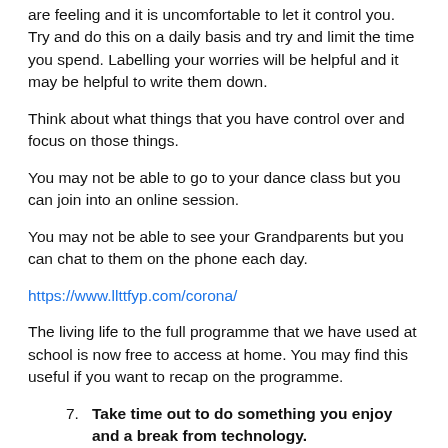are feeling and it is uncomfortable to let it control you. Try and do this on a daily basis and try and limit the time you spend. Labelling your worries will be helpful and it may be helpful to write them down.
Think about what things that you have control over and focus on those things.
You may not be able to go to your dance class but you can join into an online session.
You may not be able to see your Grandparents but you can chat to them on the phone each day.
https://www.llttfyp.com/corona/
The living life to the full programme that we have used at school is now free to access at home. You may find this useful if you want to recap on the programme.
7. Take time out to do something you enjoy and a break from technology.